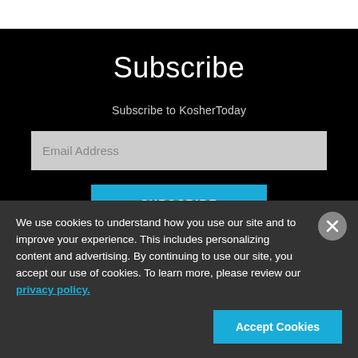Subscribe
Subscribe to KosherToday
Email Address
SUBSCRIBE
You may unsubscribe from our mailing list at any time. Diversified
We use cookies to understand how you use our site and to improve your experience. This includes personalizing content and advertising. By continuing to use our site, you accept our use of cookies. To learn more, please review our privacy policy.
Accept Cookies